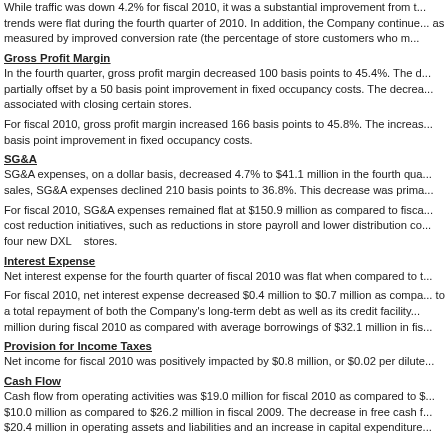While traffic was down 4.2% for fiscal 2010, it was a substantial improvement from t... trends were flat during the fourth quarter of 2010. In addition, the Company continue... as measured by improved conversion rate (the percentage of store customers who m...
Gross Profit Margin
In the fourth quarter, gross profit margin decreased 100 basis points to 45.4%. The d... partially offset by a 50 basis point improvement in fixed occupancy costs. The decrea... associated with closing certain stores.
For fiscal 2010, gross profit margin increased 166 basis points to 45.8%. The increas... basis point improvement in fixed occupancy costs.
SG&A
SG&A expenses, on a dollar basis, decreased 4.7% to $41.1 million in the fourth qua... sales, SG&A expenses declined 210 basis points to 36.8%. This decrease was prima...
For fiscal 2010, SG&A expenses remained flat at $150.9 million as compared to fisca... cost reduction initiatives, such as reductions in store payroll and lower distribution co... four new DXL stores.
Interest Expense
Net interest expense for the fourth quarter of fiscal 2010 was flat when compared to t...
For fiscal 2010, net interest expense decreased $0.4 million to $0.7 million as compa... to a total repayment of both the Company's long-term debt as well as its credit facility... million during fiscal 2010 as compared with average borrowings of $32.1 million in fis...
Provision for Income Taxes
Net income for fiscal 2010 was positively impacted by $0.8 million, or $0.02 per dilute...
Cash Flow
Cash flow from operating activities was $19.0 million for fiscal 2010 as compared to $... $10.0 million as compared to $26.2 million in fiscal 2009. The decrease in free cash f... $20.4 million in operating assets and liabilities and an increase in capital expenditure...